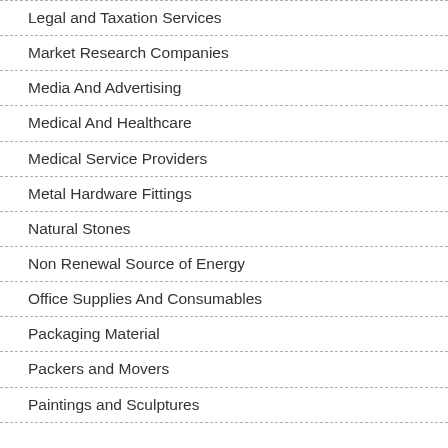Legal and Taxation Services
Market Research Companies
Media And Advertising
Medical And Healthcare
Medical Service Providers
Metal Hardware Fittings
Natural Stones
Non Renewal Source of Energy
Office Supplies And Consumables
Packaging Material
Packers and Movers
Paintings and Sculptures